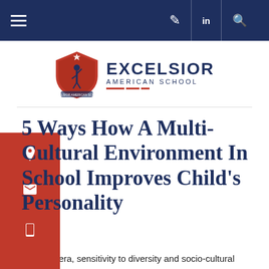Navigation bar with hamburger menu, icons for bookmark, LinkedIn, and search
[Figure (logo): Excelsior American School logo: red shield with figure raising arm, beside text 'EXCELSIOR AMERICAN SCHOOL' in dark navy]
5 Ways How A Multi-Cultural Environment In School Improves Child's Personality
In today's era, sensitivity to diversity and socio-cultural